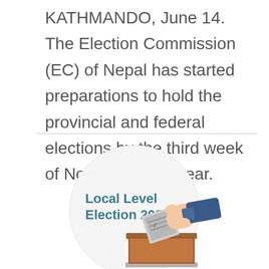KATHMANDO, June 14. The Election Commission (EC) of Nepal has started preparations to hold the provincial and federal elections by the third week of November this year.
[Figure (illustration): Circular illustration showing a hand placing a ballot paper into a ballot box, with the text 'Local Level Election 2022' in teal/blue bold font on the left side of the circle.]